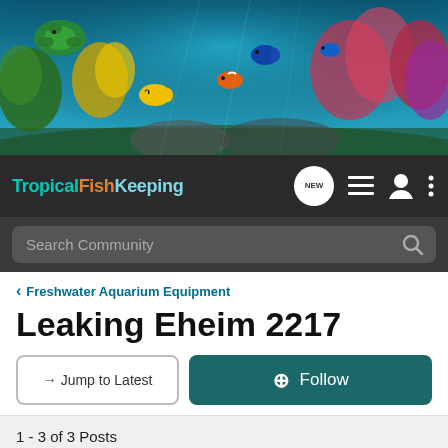[Figure (photo): Tropical aquarium banner with colorful fish, coral, and sea turtle on a blue ocean background]
TropicalFishKeeping — navigation bar with logo, NEW button, list icon, user icon, and menu icon
Search Community
< Freshwater Aquarium Equipment
Leaking Eheim 2217
→ Jump to Latest
+ Follow
1 - 3 of 3 Posts
arnoldrew · Registered
Joined Aug 22, 2013 · 37 Posts